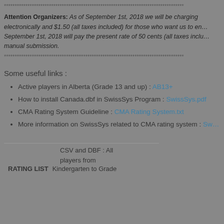******************************************************************************
Attention Organizers: As of September 1st, 2018 we will be charging electronically and $1.50 (all taxes included) for those who want us to en... September 1st, 2018 will pay the present rate of 50 cents (all taxes inclu... manual submission.
******************************************************************************
Some useful links :
Active players in Alberta (Grade 13 and up) : AB13+
How to install Canada.dbf in SwissSys Program : SwissSys.pdf
CMA Rating System Guideline : CMA Rating System.txt
More information on SwissSys related to CMA rating system : Sw...
CSV and DBF : All players from
RATING LIST   Kindergarten to Grade